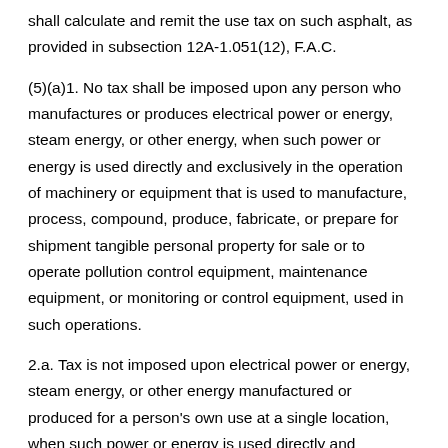shall calculate and remit the use tax on such asphalt, as provided in subsection 12A-1.051(12), F.A.C.
(5)(a)1. No tax shall be imposed upon any person who manufactures or produces electrical power or energy, steam energy, or other energy, when such power or energy is used directly and exclusively in the operation of machinery or equipment that is used to manufacture, process, compound, produce, fabricate, or prepare for shipment tangible personal property for sale or to operate pollution control equipment, maintenance equipment, or monitoring or control equipment, used in such operations.
2.a. Tax is not imposed upon electrical power or energy, steam energy, or other energy manufactured or produced for a person's own use at a single location, when such power or energy is used directly and exclusively at such location, or at